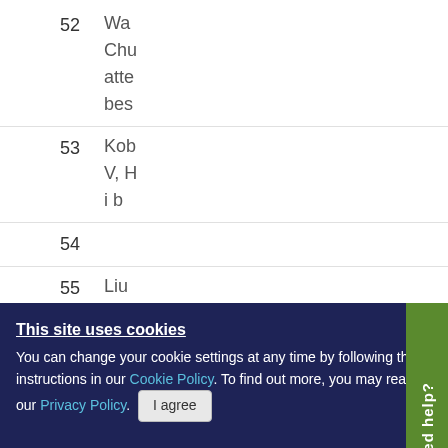52 Wa... Chu... atte... bes...
53 Kob... V, H... i b...
54
55 Liu
This site uses cookies
You can change your cookie settings at any time by following the instructions in our Cookie Policy. To find out more, you may read our Privacy Policy.
I agree